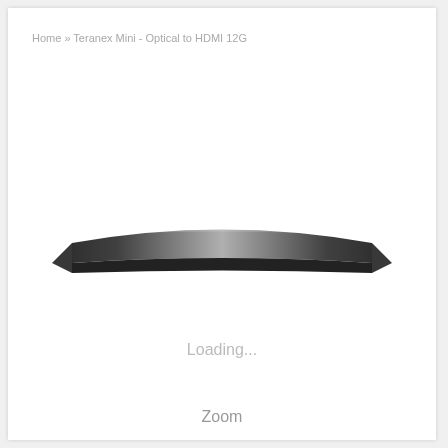Home » Teranex Mini - Optical to HDMI 12G
[Figure (photo): Top-down view of a thin, flat, dark metallic device (Teranex Mini - Optical to HDMI 12G) shown against a white background. The device is very slim and elongated, with a brushed metal finish that transitions from dark edges to a lighter center highlight.]
Loading...
Zoom